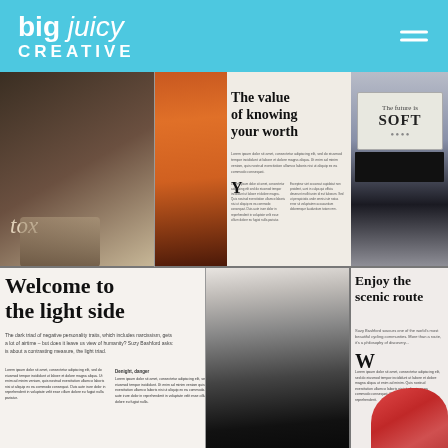big juicy CREATIVE
[Figure (photo): Collage of four open magazine spreads arranged in a 2x2 grid. Top-left: dark-toned spread with italic text 'tox'. Top-center: magazine spread showing 'The value of knowing your worth' headline with orange-haired portrait. Top-right: image showing laptop with screen text 'The future is SOFT'. Bottom-left: open magazine spread showing 'Welcome to the light side' headline with multi-column body text. Bottom-right: partial magazine page showing 'Enjoy the scenic route' headline with body text and large drop cap W.]